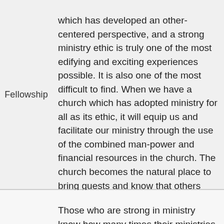which has developed an other-centered perspective, and a strong ministry ethic is truly one of the most edifying and exciting experiences possible. It is also one of the most difficult to find. When we have a church which has adopted ministry for all as its ethic, it will equip us and facilitate our ministry through the use of the combined man-power and financial resources in the church. The church becomes the natural place to bring guests and know that others there will not ruin outreach or discipleship efforts, but enhance them.
Fellowship
Those who are strong in ministry know how many times their ministries